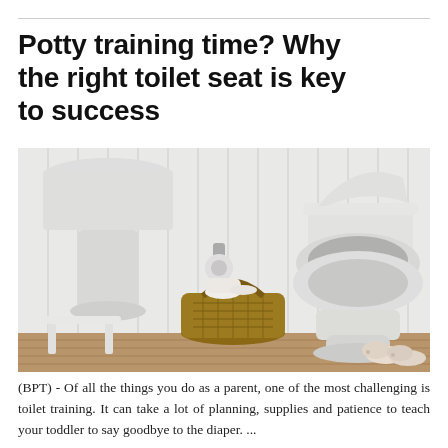Potty training time? Why the right toilet seat is key to success
[Figure (photo): A bright white bathroom scene showing a white toilet with the lid and seat up, a white step stool, a wicker basket with toilet paper rolls, and small beige baby booties on a wooden floor, against white paneled walls.]
(BPT) - Of all the things you do as a parent, one of the most challenging is toilet training. It can take a lot of planning, supplies and patience to teach your toddler to say goodbye to the diaper. ...